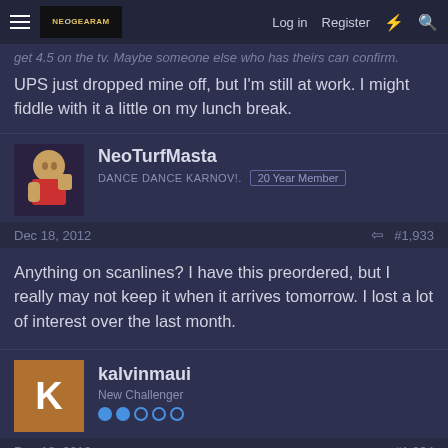NeoGeo.com — Log in | Register
get 4.5 on the tv. Maybe someone else who has theirs can confirm.
UPS just dropped mine off, but I'm still at work. I might fiddle with it a little on my lunch break.
NeoTurfMasta
DANCE DANCE KARNOV!. 20 Year Member
Dec 18, 2012 #1,933
Anything on scanlines? I have this preordered, but I really may not keep it when it arrives tomorrow. I lost a lot of interest over the last month.
kalvinmaui
New Challenger
Dec 18, 2012 #1,934